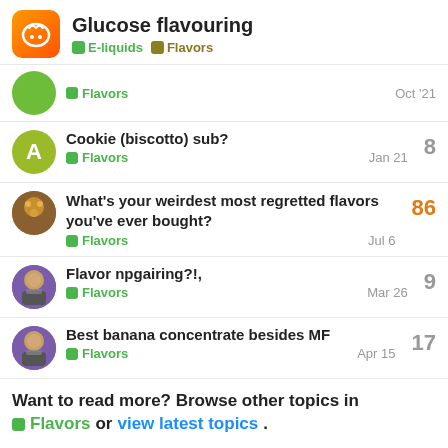Glucose flavouring — E-liquids · Flavors
Flavors — Oct '21
Cookie (biscotto) sub? — Flavors — Jan 21 — 8
What's your weirdest most regretted flavors you've ever bought? — Flavors — Jul 6 — 86
Flavor npgairing?!, — Flavors — Mar 26 — 9
Best banana concentrate besides MF — Flavors — Apr 15 — 17
Want to read more? Browse other topics in Flavors or view latest topics.